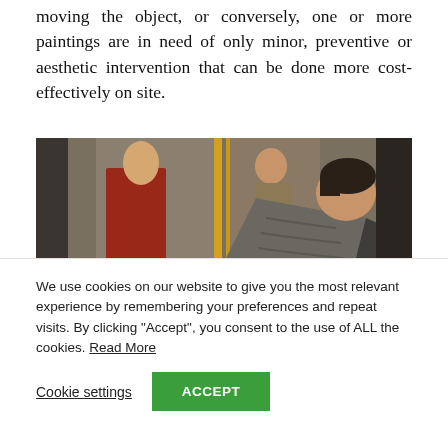moving the object, or conversely, one or more paintings are in need of only minor, preventive or aesthetic intervention that can be done more cost-effectively on site.
[Figure (photo): A man in a grey sweater leans forward to closely examine or work on a painted altarpiece or panel painting featuring a saint figure in red robes, with gold decorative elements visible.]
We use cookies on our website to give you the most relevant experience by remembering your preferences and repeat visits. By clicking “Accept”, you consent to the use of ALL the cookies. Read More
Cookie settings   ACCEPT